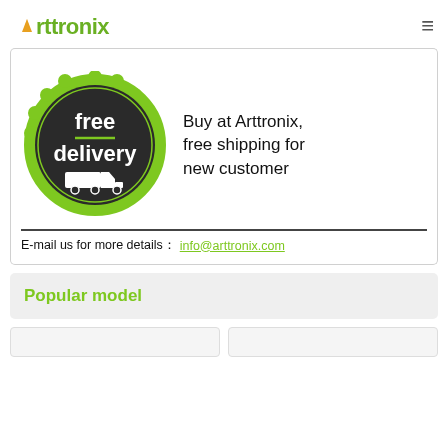Arttronix
[Figure (infographic): Free delivery badge — circular dark badge with green scalloped border, white text reading 'free delivery' with a truck icon. Next to it: 'Buy at Arttronix, free shipping for new customer'. Below: 'E-mail us for more details: info@arttronix.com']
Popular model